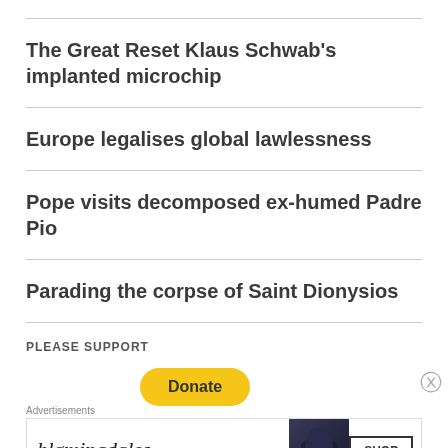The Great Reset Klaus Schwab's implanted microchip
Europe legalises global lawlessness
Pope visits decomposed ex-humed Padre Pio
Parading the corpse of Saint Dionysios
PLEASE SUPPORT
[Figure (other): Yellow donate button (PayPal style)]
Advertisements
[Figure (other): Bloomingdale's advertisement banner: logo text 'bloomingdales', tagline 'View Today's Top Deals!', with image of woman in hat and 'SHOP NOW >' button]